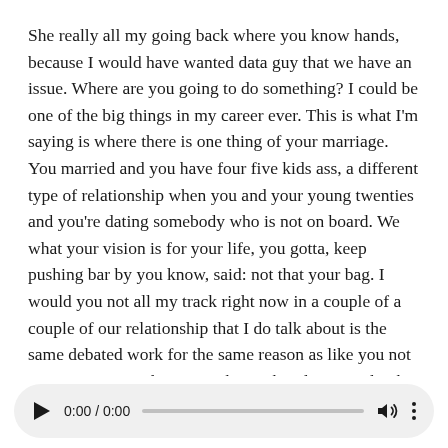She really all my going back where you know hands, because I would have wanted data guy that we have an issue. Where are you going to do something? I could be one of the big things in my career ever. This is what I'm saying is where there is one thing of your marriage. You married and you have four five kids ass, a different type of relationship when you and your young twenties and you're dating somebody who is not on board. We what your vision is for your life, you gotta, keep pushing bar by you know, said: not that your bag. I would you not all my track right now in a couple of a couple of our relationship that I do talk about is the same debated work for the same reason as like you not go. I'm going, and so is another web video. You dumb arguments like you YO midnight Murat of his classy. By